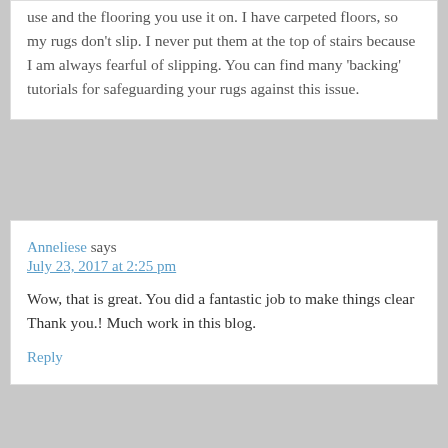use and the flooring you use it on. I have carpeted floors, so my rugs don't slip. I never put them at the top of stairs because I am always fearful of slipping. You can find many 'backing' tutorials for safeguarding your rugs against this issue.
Anneliese says
July 23, 2017 at 2:25 pm
Wow, that is great. You did a fantastic job to make things clear Thank you.! Much work in this blog.
Reply